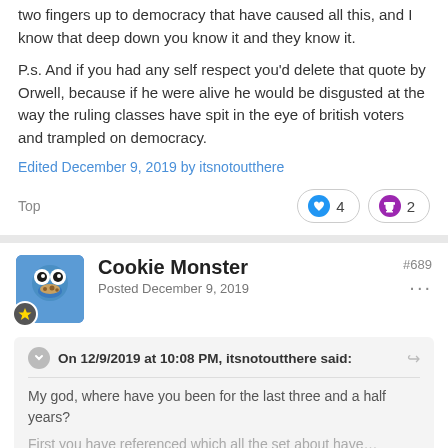two fingers up to democracy that have caused all this, and I know that deep down you know it and they know it.
P.s. And if you had any self respect you'd delete that quote by Orwell, because if he were alive he would be disgusted at the way the ruling classes have spit in the eye of british voters and trampled on democracy.
Edited December 9, 2019 by itsnotoutthere
Top
Cookie Monster
Posted December 9, 2019
#689
On 12/9/2019 at 10:08 PM, itsnotoutthere said:
My god, where have you been for the last three and a half years?